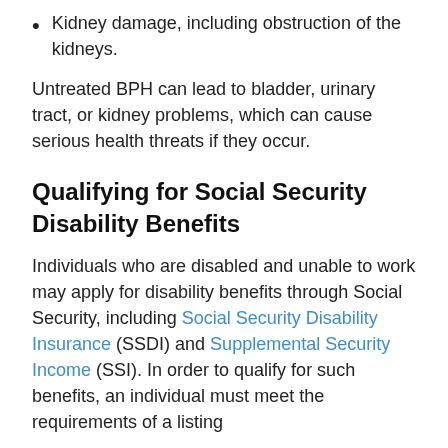Kidney damage, including obstruction of the kidneys.
Untreated BPH can lead to bladder, urinary tract, or kidney problems, which can cause serious health threats if they occur.
Qualifying for Social Security Disability Benefits
Individuals who are disabled and unable to work may apply for disability benefits through Social Security, including Social Security Disability Insurance (SSDI) and Supplemental Security Income (SSI). In order to qualify for such benefits, an individual must meet the requirements of a listing